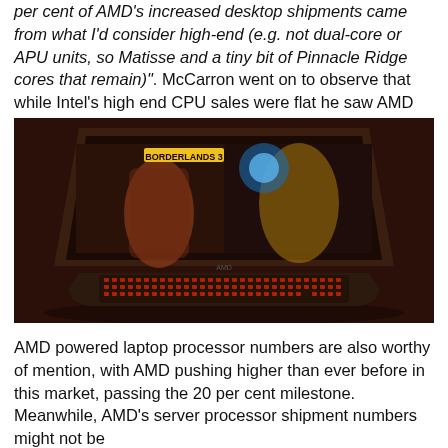per cent of AMD's increased desktop shipments came from what I'd consider high-end (e.g. not dual-core or APU units, so Matisse and a tiny bit of Pinnacle Ridge cores that remain)". McCarron went on to observe that while Intel's high end CPU sales were flat he saw AMD grow in this area.
[Figure (photo): A gaming laptop with a dark chassis and red backlit keyboard displaying a Borderlands 3 game scene on its screen, showing two game characters against a dark background.]
AMD powered laptop processor numbers are also worthy of mention, with AMD pushing higher than ever before in this market, passing the 20 per cent milestone. Meanwhile, AMD's server processor shipment numbers might not be